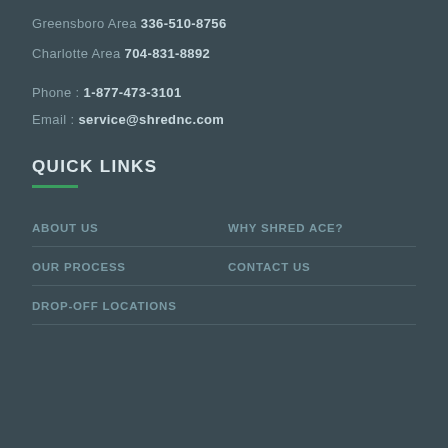Greensboro Area 336-510-8756
Charlotte Area 704-831-8892
Phone : 1-877-473-3101
Email : service@shrednc.com
QUICK LINKS
ABOUT US
WHY SHRED ACE?
OUR PROCESS
CONTACT US
DROP-OFF LOCATIONS